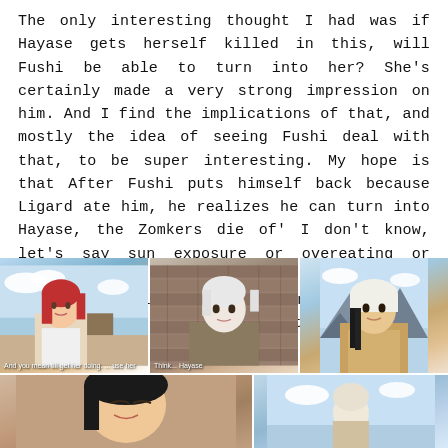The only interesting thought I had was if Hayase gets herself killed in this, will Fushi be able to turn into her? She's certainly made a very strong impression on him. And I find the implications of that, and mostly the idea of seeing Fushi deal with that, to be super interesting. My hope is that After Fushi puts himself back because Ligard ate him, he realizes he can turn into Hayase, the Zomkers die of' I don't know, let's say sun exposure or overeating or something, and then we get an episode and a half of Fushi going a bit nuts having a Hayase vessel. Cool right? Just me?
[Figure (photo): Three anime screenshots side by side: left shows a red-haired female character (Hayase), center shows a white-haired character (Fushi) against a brick wall, right shows a character with a white headwrap.]
[Figure (photo): Two anime screenshots side by side at the bottom: left shows a close-up of a character's face, right shows another character scene.]